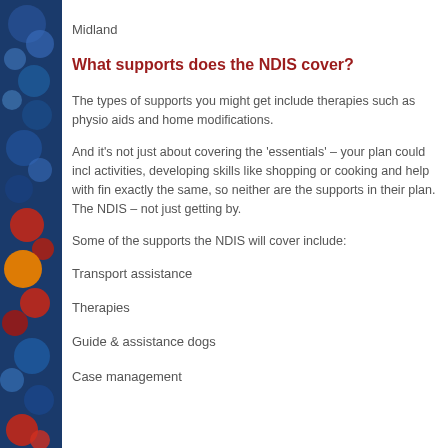Midland
What supports does the NDIS cover?
The types of supports you might get include therapies such as physio aids and home modifications.
And it’s not just about covering the ‘essentials’ – your plan could include activities, developing skills like shopping or cooking and help with fin exactly the same, so neither are the supports in their plan. The NDIS – not just getting by.
Some of the supports the NDIS will cover include:
Transport assistance
Therapies
Guide & assistance dogs
Case management